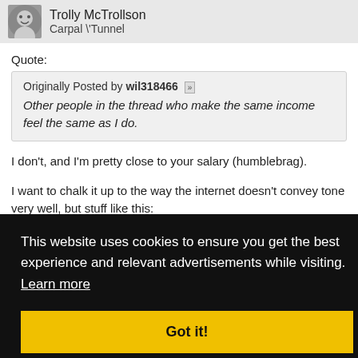Trolly McTrollson
Carpal \' Tunnel
Quote:
Originally Posted by wil318466
Other people in the thread who make the same income feel the same as I do.
I don't, and I'm pretty close to your salary (humblebrag).
I want to chalk it up to the way the internet doesn't convey tone very well, but stuff like this:
This website uses cookies to ensure you get the best experience and relevant advertisements while visiting. Learn more
Got it!
#1893